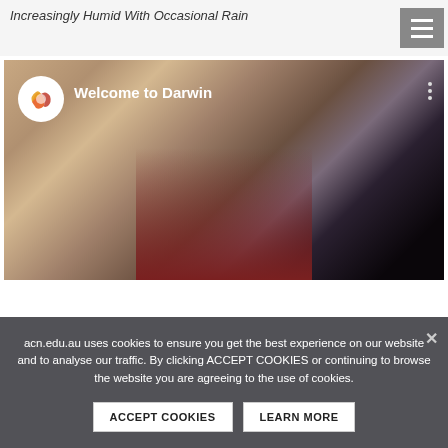Increasingly Humid With Occasional Rain
[Figure (screenshot): YouTube-style video thumbnail titled 'Welcome to Darwin' showing a close-up of a person's face with blonde hair, with a channel logo circle on the left and three-dot menu on the right. Background transitions from warm skin tones to dark grey/black to dark red.]
acn.edu.au uses cookies to ensure you get the best experience on our website and to analyse our traffic. By clicking ACCEPT COOKIES or continuing to browse the website you are agreeing to the use of cookies.
ACCEPT COOKIES
LEARN MORE